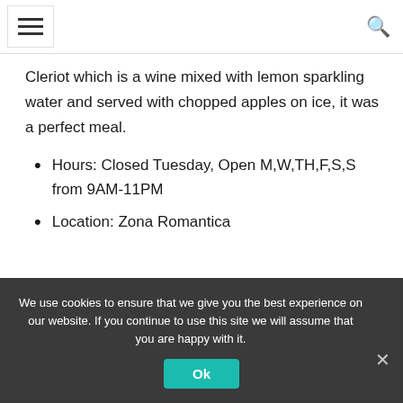Cleriot which is a wine mixed with lemon sparkling water and served with chopped apples on ice, it was a perfect meal.
Hours: Closed Tuesday, Open M,W,TH,F,S,S from 9AM-11PM
Location: Zona Romantica
We use cookies to ensure that we give you the best experience on our website. If you continue to use this site we will assume that you are happy with it.